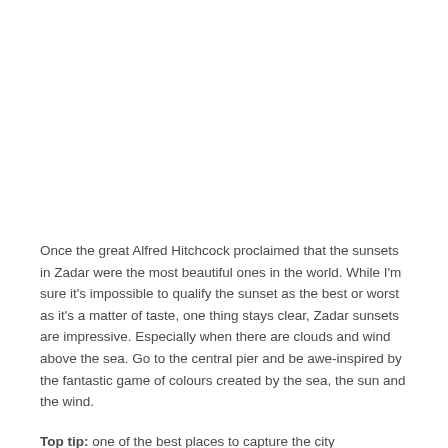Once the great Alfred Hitchcock proclaimed that the sunsets in Zadar were the most beautiful ones in the world. While I'm sure it's impossible to qualify the sunset as the best or worst as it's a matter of taste, one thing stays clear, Zadar sunsets are impressive. Especially when there are clouds and wind above the sea. Go to the central pier and be awe-inspired by the fantastic game of colours created by the sea, the sun and the wind.
Top tip: one of the best places to capture the city